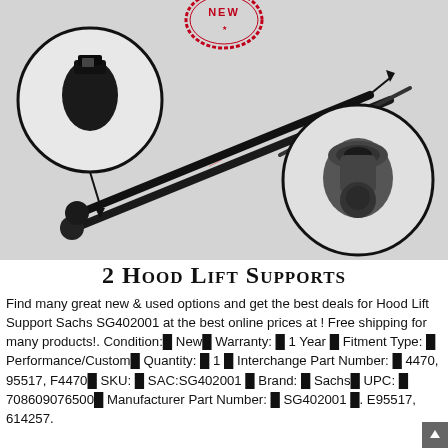[Figure (photo): Product photo showing two black hood lift support struts with close-up circle insets: left inset shows the rubber-capped end, right inset shows the ball-socket mount end. A red 'NEW' stamp appears at top center.]
2 Hood Lift Supports
Find many great new & used options and get the best deals for Hood Lift Support Sachs SG402001 at the best online prices at ! Free shipping for many products!. Condition:█ New█ Warranty: █ 1 Year █ Fitment Type: █ Performance/Custom█ Quantity: █ 1 █ Interchange Part Number: █ 4470, 95517, F4470█ SKU: █ SAC:SG402001 █ Brand: █ Sachs█ UPC: █ 708609076500█ Manufacturer Part Number: █ SG402001 █. E95517, 614257.